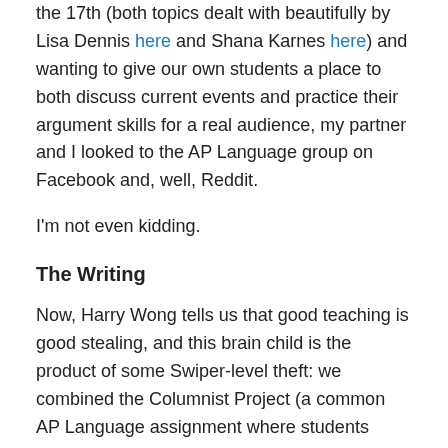the 17th (both topics dealt with beautifully by Lisa Dennis here and Shana Karnes here) and wanting to give our own students a place to both discuss current events and practice their argument skills for a real audience, my partner and I looked to the AP Language group on Facebook and, well, Reddit.
I'm not even kidding.
The Writing
Now, Harry Wong tells us that good teaching is good stealing, and this brain child is the product of some Swiper-level theft: we combined the Columnist Project (a common AP Language assignment where students complete a mentor text survey of a columnist before analyzing her style in a formal essay) with the structure and goals of the /r/changemyview subreddit.